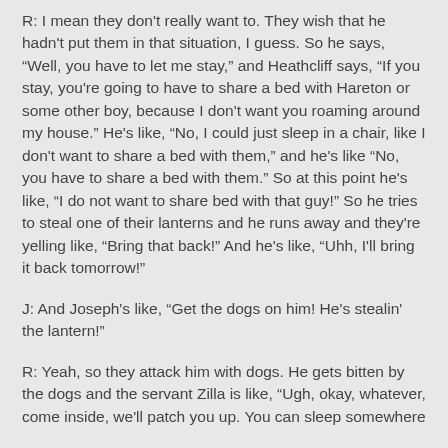R: I mean they don't really want to. They wish that he hadn't put them in that situation, I guess. So he says, “Well, you have to let me stay,” and Heathcliff says, “If you stay, you're going to have to share a bed with Hareton or some other boy, because I don't want you roaming around my house.” He's like, “No, I could just sleep in a chair, like I don't want to share a bed with them,” and he's like “No, you have to share a bed with them.” So at this point he's like, “I do not want to share bed with that guy!” So he tries to steal one of their lanterns and he runs away and they're yelling like, “Bring that back!” And he's like, “Uhh, I'll bring it back tomorrow!”
J: And Joseph's like, “Get the dogs on him! He's stealin' the lantern!”
R: Yeah, so they attack him with dogs. He gets bitten by the dogs and the servant Zilla is like, “Ugh, okay, whatever, come inside, we'll patch you up. You can sleep somewhere